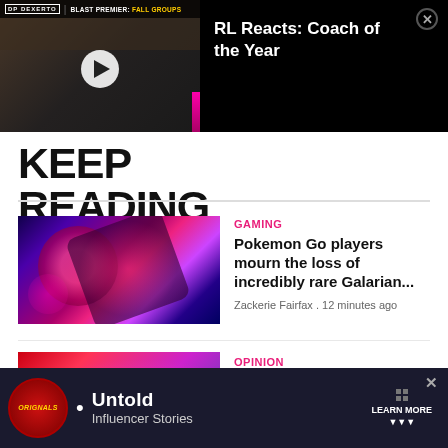[Figure (screenshot): Video thumbnail showing a man with glasses and beard holding a phone, with a play button overlay. Top bar shows Dexerto logo and BLAST PREMIER: FALL GROUPS text.]
RL Reacts: Coach of the Year
KEEP READING
[Figure (photo): Colorful abstract image of a Pokemon character (Galarian form) with red/purple hues]
GAMING
Pokemon Go players mourn the loss of incredibly rare Galarian...
Zackerie Fairfax . 12 minutes ago
[Figure (photo): Partial colorful abstract image for second article]
OPINION
[Figure (screenshot): Advertisement banner with Originals logo, Untold text, Influencer Stories subtitle, and LEARN MORE button]